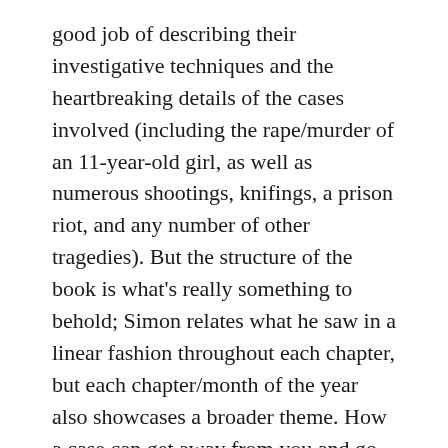good job of describing their investigative techniques and the heartbreaking details of the cases involved (including the rape/murder of an 11-year-old girl, as well as numerous shootings, knifings, a prison riot, and any number of other tragedies). But the structure of the book is what's really something to behold; Simon relates what he saw in a linear fashion throughout each chapter, but each chapter/month of the year also showcases a broader theme. How a case can get away from you and go cold, even if it's a high-priority case. Interrogation techniques. Investigating when cops are shot and when cops engage in "bad shoots." What happens at the morgue. How the legal system works. If you